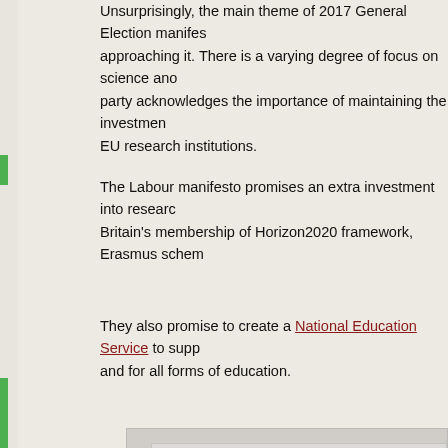Unsurprisingly, the main theme of 2017 General Election manifestos approaching it. There is a varying degree of focus on science and party acknowledges the importance of maintaining the investment EU research institutions.
The Labour manifesto promises an extra investment into research Britain's membership of Horizon2020 framework, Erasmus scheme
They also promise to create a National Education Service to support and for all forms of education.
[Figure (other): Embedded content box (light gray rectangle, partially visible at bottom of page)]